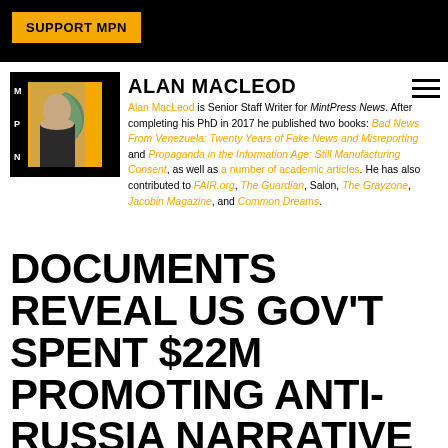SUPPORT MPN
ALAN MACLEOD
Alan MacLeod is Senior Staff Writer for MintPress News. After completing his PhD in 2017 he published two books: Bad News From Venezuela: Twenty Years of Fake News and Misreporting and Propaganda in the Information Age: Still Manufacturing Consent, as well as a number of academic articles. He has also contributed to FAIR.org, The Guardian, Salon, The Grayzone, Jacobin Magazine, and Common Dreams.
DOCUMENTS REVEAL US GOV'T SPENT $22M PROMOTING ANTI-RUSSIA NARRATIVE IN UKRAINE AND ABROAD